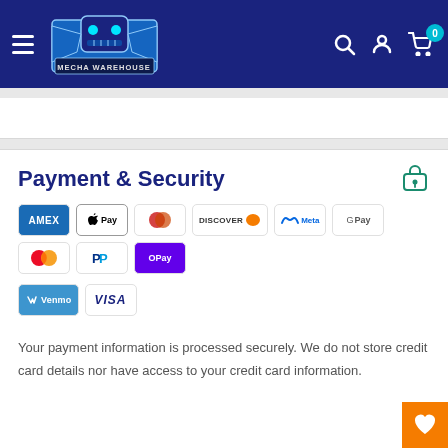Mecha Warehouse — navigation header with logo, search, account, and cart icons
Payment & Security
[Figure (infographic): Payment method icons: Amex, Apple Pay, Diners Club, Discover, Meta Pay, Google Pay, Mastercard, PayPal, OPay, Venmo, Visa]
Your payment information is processed securely. We do not store credit card details nor have access to your credit card information.